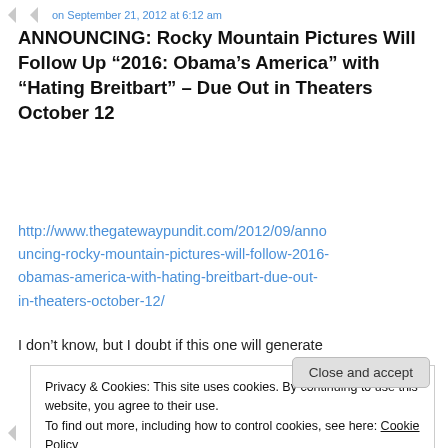... on September 21, 2012 at 6:12 am
ANNOUNCING: Rocky Mountain Pictures Will Follow Up “2016: Obama’s America” with “Hating Breitbart” – Due Out in Theaters October 12
http://www.thegatewaypundit.com/2012/09/announcing-rocky-mountain-pictures-will-follow-2016-obamas-america-with-hating-breitbart-due-out-in-theaters-october-12/
I don’t know, but I doubt if this one will generate
Privacy & Cookies: This site uses cookies. By continuing to use this website, you agree to their use.
To find out more, including how to control cookies, see here: Cookie Policy
... on September 19, 2012 at 5:53 am